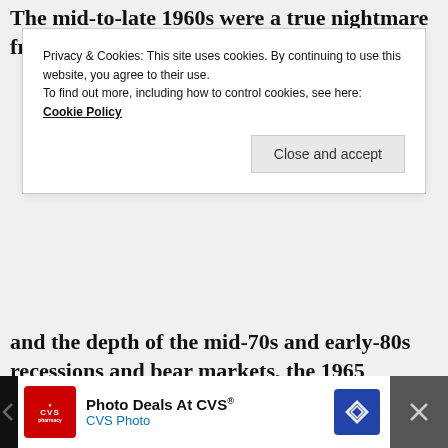The mid-to-late 1960s were a true nightmare from
Privacy & Cookies: This site uses cookies. By continuing to use this website, you agree to their use. To find out more, including how to control cookies, see here: Cookie Policy
Close and accept
and the depth of the mid-70s and early-80s recessions and bear markets, the 1965 retirement cohort is often considered the worst-case scenario, often worse than even the Great Depression!
[Figure (other): Gray content placeholder box]
[Figure (other): Advertisement banner at bottom: Photo Deals At CVS® / CVS Photo, with CVS Pharmacy logo and navigation icon]